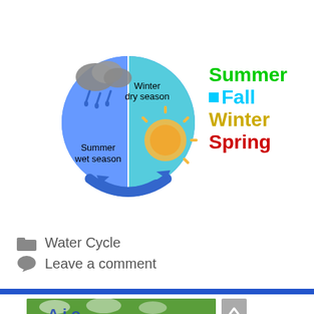[Figure (illustration): Circular seasonal cycle diagram showing Summer wet season (left half, with rain cloud and raindrops) and Winter dry season (right half, with sun), surrounded by a blue circular arrow. Beside it a legend listing Summer (green), Fall (cyan with colored square), Winter (yellow-gold), Spring (red).]
Water Cycle
Leave a comment
[Figure (photo): Partial view of a green-background image showing white cloud shapes, with blue lettering partially visible at the bottom.]